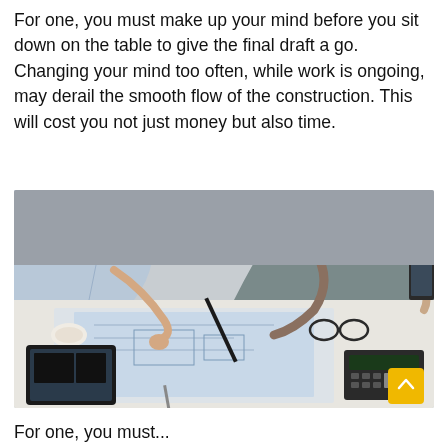For one, you must make up your mind before you sit down on the table to give the final draft a go. Changing your mind too often, while work is ongoing, may derail the smooth flow of the construction. This will cost you not just money but also time.
[Figure (photo): Two people leaning over a table covered with architectural blueprints and floor plans. One person is writing with a pen. A tablet, glasses, calculator, and pencils are also visible on the table.]
For one, you must...